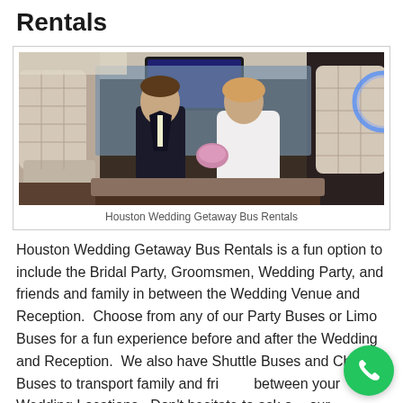Rentals
[Figure (photo): A bride and groom sitting inside a luxury party bus/limousine with cream/tan quilted leather seats and blue LED lighting. The couple is facing each other, the groom in a dark suit and the bride in a white dress holding flowers.]
Houston Wedding Getaway Bus Rentals
Houston Wedding Getaway Bus Rentals is a fun option to include the Bridal Party, Groomsmen, Wedding Party, and friends and family in between the Wedding Venue and Reception.  Choose from any of our Party Buses or Limo Buses for a fun experience before and after the Wedding and Reception.  We also have Shuttle Buses and Charter Buses to transport family and friends between your Wedding Locations.  Don't hesitate to ask our professional service representatives questions so we can find